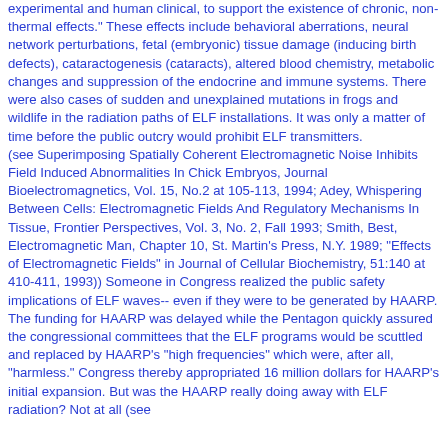experimental and human clinical, to support the existence of chronic, non-thermal effects." These effects include behavioral aberrations, neural network perturbations, fetal (embryonic) tissue damage (inducing birth defects), cataractogenesis (cataracts), altered blood chemistry, metabolic changes and suppression of the endocrine and immune systems. There were also cases of sudden and unexplained mutations in frogs and wildlife in the radiation paths of ELF installations. It was only a matter of time before the public outcry would prohibit ELF transmitters. (see Superimposing Spatially Coherent Electromagnetic Noise Inhibits Field Induced Abnormalities In Chick Embryos, Journal Bioelectromagnetics, Vol. 15, No.2 at 105-113, 1994; Adey, Whispering Between Cells: Electromagnetic Fields And Regulatory Mechanisms In Tissue, Frontier Perspectives, Vol. 3, No. 2, Fall 1993; Smith, Best, Electromagnetic Man, Chapter 10, St. Martin's Press, N.Y. 1989; "Effects of Electromagnetic Fields" in Journal of Cellular Biochemistry, 51:140 at 410-411, 1993)) Someone in Congress realized the public safety implications of ELF waves-- even if they were to be generated by HAARP. The funding for HAARP was delayed while the Pentagon quickly assured the congressional committees that the ELF programs would be scuttled and replaced by HAARP's "high frequencies" which were, after all, "harmless." Congress thereby appropriated 16 million dollars for HAARP's initial expansion. But was the HAARP really doing away with ELF radiation? Not at all (see